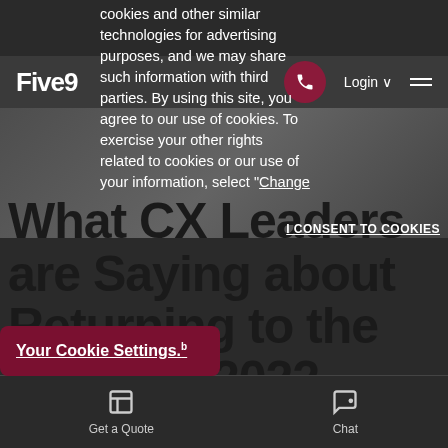cookies and other similar technologies for advertising purposes, and we may share such information with third parties. By using this site, you agree to our use of cookies. To exercise your other rights related to cookies or our use of your information, select "Change Your Cookie Settings."
[Figure (screenshot): Five9 website navigation bar with logo, phone button, Login link, and hamburger menu icon]
[Figure (photo): Background hero image on website, partially visible, dark background]
What CX Leaders are Saying about Returning to the Office in 2022
I CONSENT TO COOKIES
Your Cookie Settings.
Get a Quote
Chat